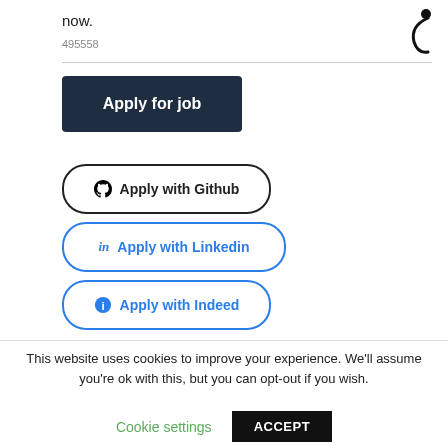now.
495558
Apply for job
Apply with Github
Apply with Linkedin
Apply with Indeed
This website uses cookies to improve your experience. We'll assume you're ok with this, but you can opt-out if you wish.
Cookie settings
ACCEPT